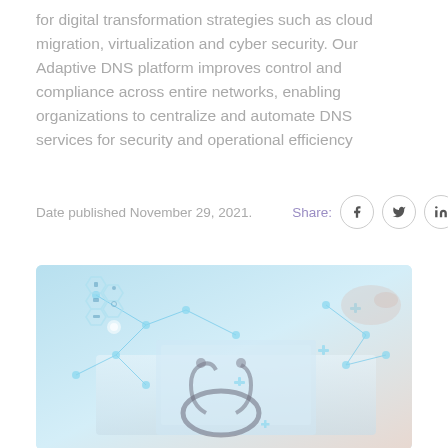for digital transformation strategies such as cloud migration, virtualization and cyber security. Our Adaptive DNS platform improves control and compliance across entire networks, enabling organizations to centralize and automate DNS services for security and operational efficiency
Date published November 29, 2021.    Share:
[Figure (photo): Healthcare technology photo showing a stethoscope on a desk with a tablet/laptop, overlaid with glowing blue digital network icons and medical symbols (hexagons, crosses, connected nodes) creating a digital health concept image.]